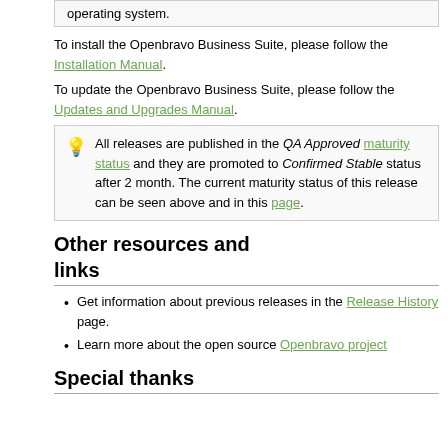operating system.
To install the Openbravo Business Suite, please follow the Installation Manual.
To update the Openbravo Business Suite, please follow the Updates and Upgrades Manual.
All releases are published in the QA Approved maturity status and they are promoted to Confirmed Stable status after 2 month. The current maturity status of this release can be seen above and in this page.
Other resources and links
Get information about previous releases in the Release History page.
Learn more about the open source Openbravo project
Special thanks